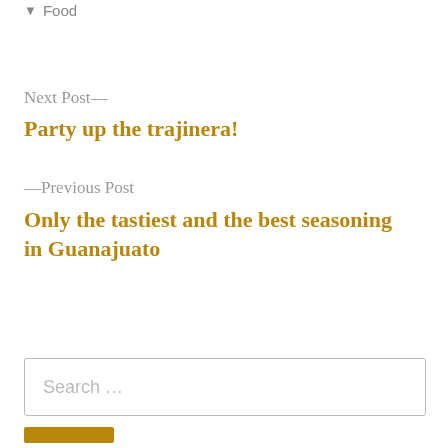Food
Next Post—
Party up the trajinera!
—Previous Post
Only the tastiest and the best seasoning in Guanajuato
Search …